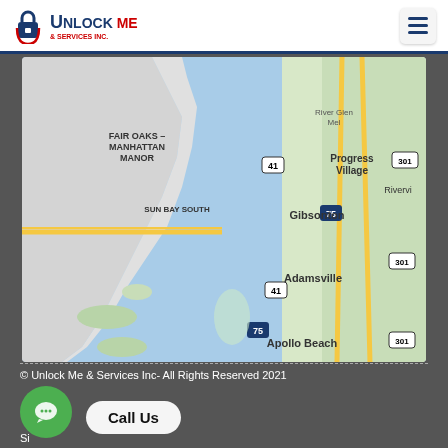[Figure (logo): Unlock Me & Services Inc logo with padlock icon, blue and red text]
[Figure (map): Google Maps screenshot showing Tampa Bay area including Fair Oaks - Manhattan Manor, Sun Bay South, Progress Village, Riverview, Gibsonton, Adamsville, Apollo Beach with highways 41, 75, 301]
© Unlock Me & Services Inc- All Rights Reserved 2021
Si...